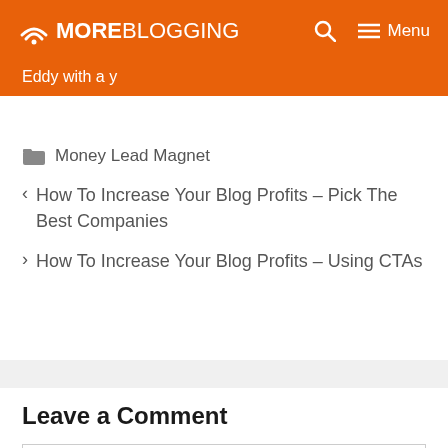MOREBLOGGING Menu
Eddy with a y
Money Lead Magnet
< How To Increase Your Blog Profits – Pick The Best Companies
> How To Increase Your Blog Profits – Using CTAs
Leave a Comment